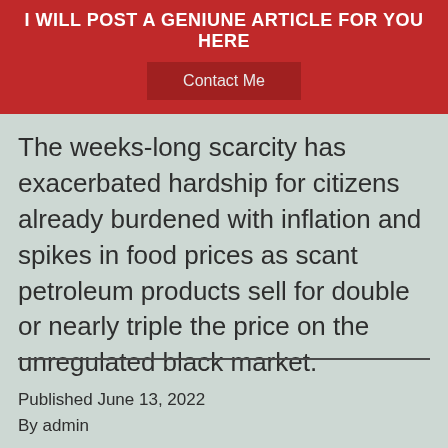I WILL POST A GENIUNE ARTICLE FOR YOU HERE
Contact Me
The weeks-long scarcity has exacerbated hardship for citizens already burdened with inflation and spikes in food prices as scant petroleum products sell for double or nearly triple the price on the unregulated black market.
Published June 13, 2022
By admin